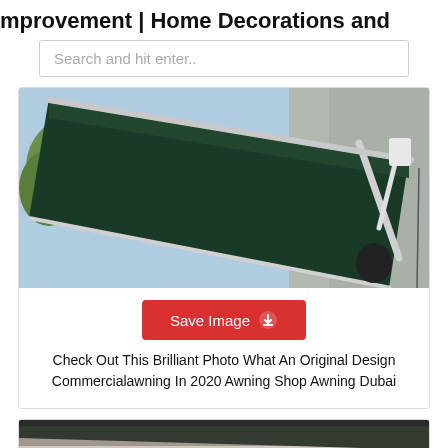mprovement | Home Decorations and
Search and hit enter..
[Figure (photo): Photo of a dark green retractable awning mounted on a building exterior, viewed from below at an angle, showing metal arms and fabric canopy against a light sky with trees visible on the left.]
Save Image
Check Out This Brilliant Photo What An Original Design Commercialawning In 2020 Awning Shop Awning Dubai
[Figure (photo): Partial view of another awning or building exterior at the bottom of the page.]